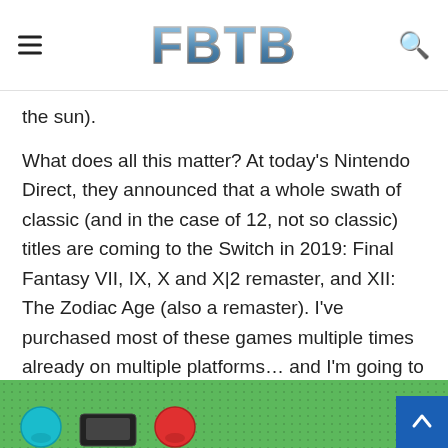FBTB
the sun).
What does all this matter? At today's Nintendo Direct, they announced that a whole swath of classic (and in the case of 12, not so classic) titles are coming to the Switch in 2019: Final Fantasy VII, IX, X and X|2 remaster, and XII: The Zodiac Age (also a remaster). I've purchased most of these games multiple times already on multiple platforms… and I'm going to do it again just to have them in handheld on my Switch. I wish that they were including the more classic titles like the original 6 (1 and 2 have only seen iOS and GBA re-release. We know they're already tuned for handheld, so gimmie already).
[Figure (screenshot): Screenshot of a video game showing colorful characters on a green grassy background]